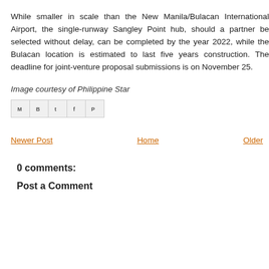While smaller in scale than the New Manila/Bulacan International Airport, the single-runway Sangley Point hub, should a partner be selected without delay, can be completed by the year 2022, while the Bulacan location is estimated to last five years construction. The deadline for joint-venture proposal submissions is on November 25.
Image courtesy of Philippine Star
[Figure (other): Social share buttons: Email (M), Blogger (B), Twitter (t), Facebook (f), Pinterest (P)]
Newer Post    Home    Older Post
0 comments:
Post a Comment